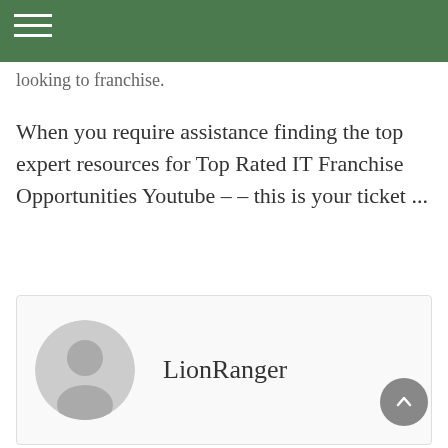looking to franchise.
When you require assistance finding the top expert resources for Top Rated IT Franchise Opportunities Youtube – – this is your ticket ...
LionRanger